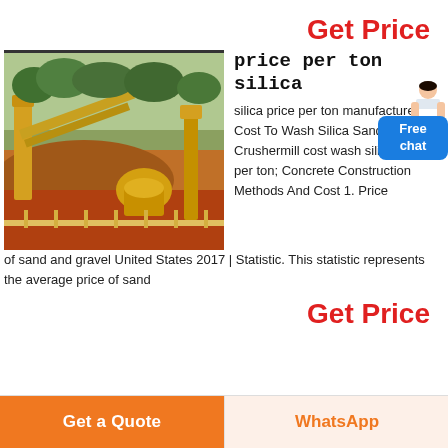Get Price
[Figure (photo): Industrial mining/crushing equipment at an open-pit site with yellow machinery, conveyor belts, and red soil, surrounded by green trees]
price per ton silica
silica price per ton manufacturers Cost To Wash Silica Sand Per india Crushermill cost wash silica sand per ton; Concrete Construction Methods And Cost 1. Price of sand and gravel United States 2017 | Statistic. This statistic represents the average price of sand
Get Price
Get a Quote
WhatsApp